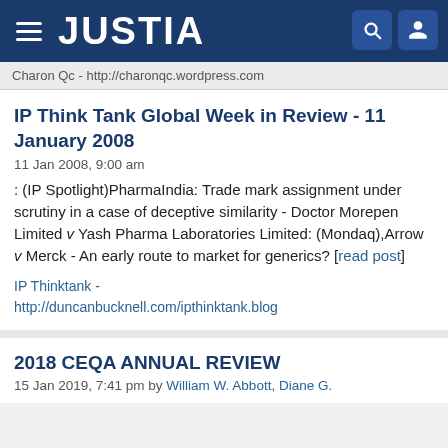JUSTIA
Charon Qc - http://charonqc.wordpress.com
IP Think Tank Global Week in Review - 11 January 2008
11 Jan 2008, 9:00 am
: (IP Spotlight)PharmaIndia: Trade mark assignment under scrutiny in a case of deceptive similarity - Doctor Morepen Limited v Yash Pharma Laboratories Limited: (Mondaq),Arrow v Merck - An early route to market for generics? [read post]
IP Thinktank - http://duncanbucknell.com/ipthinktank.blog
2018 CEQA ANNUAL REVIEW
15 Jan 2019, 7:41 pm by William W. Abbott, Diane G.